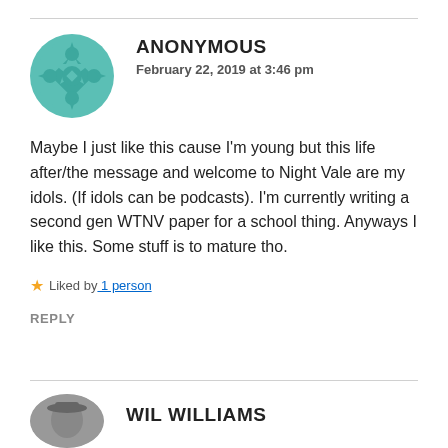[Figure (illustration): Teal geometric mandala/quilt-pattern avatar icon for Anonymous commenter]
ANONYMOUS
February 22, 2019 at 3:46 pm
Maybe I just like this cause I’m young but this life after/the message and welcome to Night Vale are my idols. (If idols can be podcasts). I’m currently writing a second gen WTNV paper for a school thing. Anyways I like this. Some stuff is to mature tho.
★ Liked by 1 person
REPLY
[Figure (photo): Circular avatar photo of Wil Williams, showing a person wearing a hat]
WIL WILLIAMS